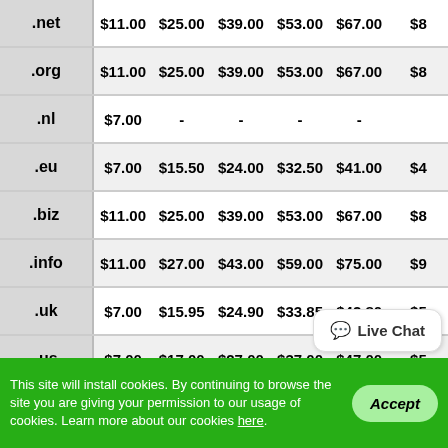| TLD | 1 yr | 2 yr | 3 yr | 4 yr | 5 yr | 6 yr |
| --- | --- | --- | --- | --- | --- | --- |
| .net | $11.00 | $25.00 | $39.00 | $53.00 | $67.00 | $8… |
| .org | $11.00 | $25.00 | $39.00 | $53.00 | $67.00 | $8… |
| .nl | $7.00 | - | - | - | - |  |
| .eu | $7.00 | $15.50 | $24.00 | $32.50 | $41.00 | $4… |
| .biz | $11.00 | $25.00 | $39.00 | $53.00 | $67.00 | $8… |
| .info | $11.00 | $27.00 | $43.00 | $59.00 | $75.00 | $9… |
| .uk | $7.00 | $15.95 | $24.90 | $33.85 | $42.80 | $5… |
| .us | $7.00 | $17.00 | $27.00 | $37.00 | $47.00 | $5… |
| .site | $24.00 | $48.00 | $72.00 | $96.00 | $120.00 | $1… |
This site will install cookies. By continuing to browse the site you are giving your permission to our usage of cookies. Learn more about our cookies here.